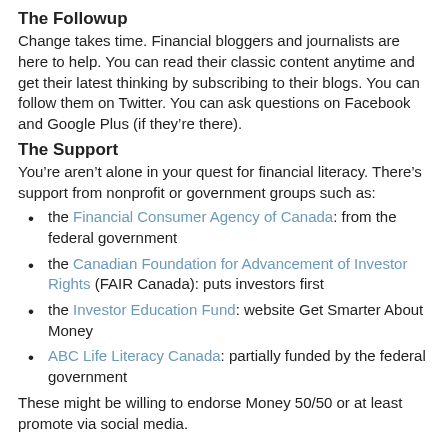The Followup
Change takes time. Financial bloggers and journalists are here to help. You can read their classic content anytime and get their latest thinking by subscribing to their blogs. You can follow them on Twitter. You can ask questions on Facebook and Google Plus (if they’re there).
The Support
You’re aren’t alone in your quest for financial literacy. There’s support from nonprofit or government groups such as:
the Financial Consumer Agency of Canada: from the federal government
the Canadian Foundation for Advancement of Investor Rights (FAIR Canada): puts investors first
the Investor Education Fund: website Get Smarter About Money
ABC Life Literacy Canada: partially funded by the federal government
These might be willing to endorse Money 50/50 or at least promote via social media.